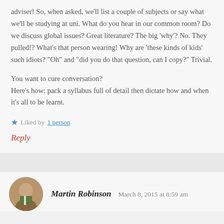adviser! So, when asked, we'll list a couple of subjects or say what we'll be studying at uni. What do you hear in our common room? Do we discuss global issues? Great literature? The big 'why'? No. They pulled!? What's that person wearing! Why are 'these kinds of kids' such idiots? "Oh" and "did you do that question, can I copy?" Trivial.
You want to cure conversation?
Here's how: pack a syllabus full of detail then dictate how and when it's all to be learnt.
Liked by 1 person
Reply
Martin Robinson   March 8, 2015 at 8:59 am